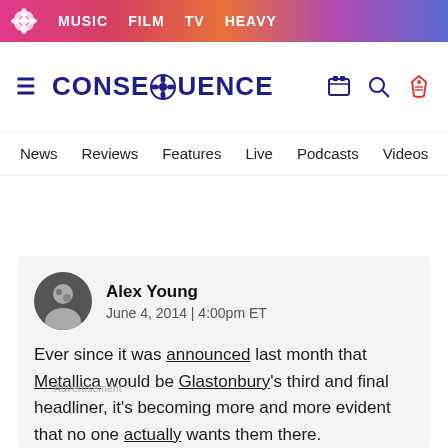MUSIC  FILM  TV  HEAVY
[Figure (logo): Consequence of Sound website logo with hamburger menu and header icons]
News  Reviews  Features  Live  Podcasts  Videos  Mobile A
Alex Young
June 4, 2014 | 4:00pm ET
Ever since it was announced last month that Metallica would be Glastonbury's third and final headliner, it's becoming more and more evident that no one actually wants them there.
Arctic Monkeys who headlined the UK festival